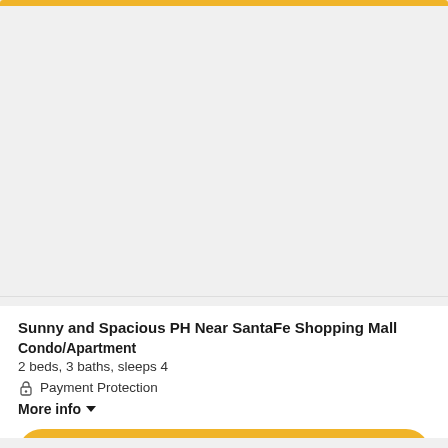[Figure (photo): Gray placeholder image area for a property listing photo]
Sunny and Spacious PH Near SantaFe Shopping Mall
Condo/Apartment
2 beds, 3 baths, sleeps 4
Payment Protection
More info
Show Prices